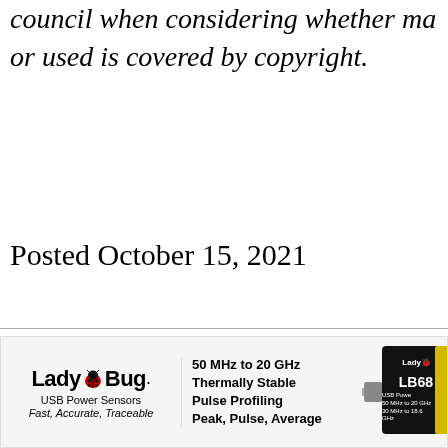council when considering whether ma or used is covered by copyright.
Posted October 15, 2021
[Figure (illustration): LadyBug USB Power Sensors advertisement banner. Shows LadyBug logo with ladybug graphic, text 'USB Power Sensors, Fast, Accurate, Traceable', features '50 MHz to 20 GHz, Thermally Stable, Pulse Profiling, Peak, Pulse, Average', and image of LB680 USB power sensor device.]